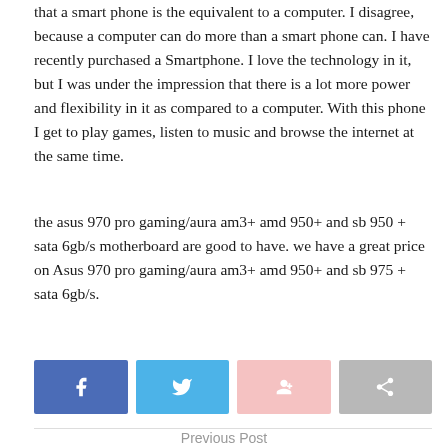that a smart phone is the equivalent to a computer. I disagree, because a computer can do more than a smart phone can. I have recently purchased a Smartphone. I love the technology in it, but I was under the impression that there is a lot more power and flexibility in it as compared to a computer. With this phone I get to play games, listen to music and browse the internet at the same time.
the asus 970 pro gaming/aura am3+ amd 950+ and sb 950 + sata 6gb/s motherboard are good to have. we have a great price on Asus 970 pro gaming/aura am3+ amd 950+ and sb 975 + sata 6gb/s.
[Figure (other): Four social share buttons: Facebook (blue), Twitter (light blue), Google+ (light pink), Share (gray)]
Previous Post